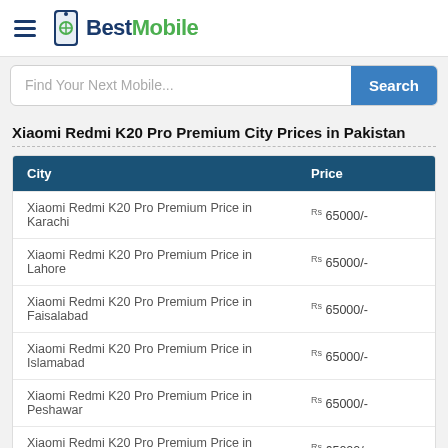BestMobile
Find Your Next Mobile...
Xiaomi Redmi K20 Pro Premium City Prices in Pakistan
| City | Price |
| --- | --- |
| Xiaomi Redmi K20 Pro Premium Price in Karachi | Rs 65000/- |
| Xiaomi Redmi K20 Pro Premium Price in Lahore | Rs 65000/- |
| Xiaomi Redmi K20 Pro Premium Price in Faisalabad | Rs 65000/- |
| Xiaomi Redmi K20 Pro Premium Price in Islamabad | Rs 65000/- |
| Xiaomi Redmi K20 Pro Premium Price in Peshawar | Rs 65000/- |
| Xiaomi Redmi K20 Pro Premium Price in Quetta | Rs 65000/- |
Frequently Asked Questions (FAQ) on Xiaomi Redmi K20 Pro Premium